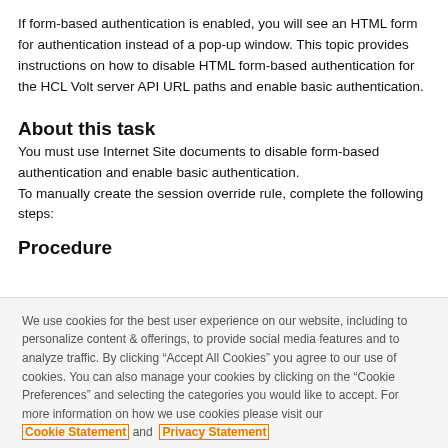If form-based authentication is enabled, you will see an HTML form for authentication instead of a pop-up window. This topic provides instructions on how to disable HTML form-based authentication for the HCL Volt server API URL paths and enable basic authentication.
About this task
You must use Internet Site documents to disable form-based authentication and enable basic authentication.
To manually create the session override rule, complete the following steps:
Procedure
We use cookies for the best user experience on our website, including to personalize content & offerings, to provide social media features and to analyze traffic. By clicking “Accept All Cookies” you agree to our use of cookies. You can also manage your cookies by clicking on the “Cookie Preferences” and selecting the categories you would like to accept. For more information on how we use cookies please visit our Cookie Statement and Privacy Statement